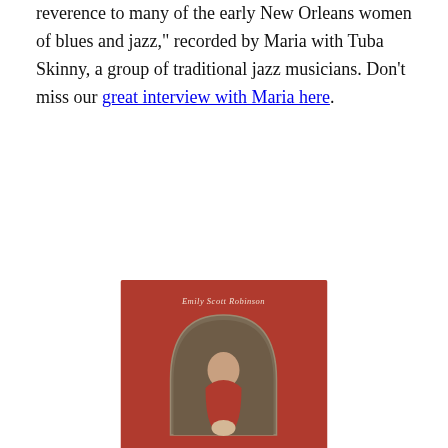reverence to many of the early New Orleans women of blues and jazz," recorded by Maria with Tuba Skinny, a group of traditional jazz musicians. Don't miss our great interview with Maria here.
[Figure (photo): Album cover for Emily Scott Robinson's 'American Siren'. Red background with the artist name 'Emily Scott Robinson' at the top in italic script, a central arch-shaped photograph of a woman in a red dress seated, and 'American Siren' in italic script at the bottom.]
Emily Scott Robinson, American Siren
This is one beautiful country album, featuring terrific three-part harmonies, songs of loss and love and the exquisite